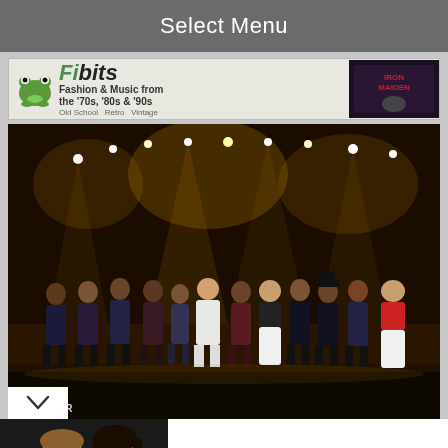Select Menu
[Figure (photo): Fibits website banner: Fashion & Music from the '70s, '80s & '90s with frog mascot logo and Old School Retro Vintage tagline, with Iron Maiden album cover thumbnail on right]
[Figure (photo): Concert photo of Foreigner band members on stage with dramatic yellow/golden stage lighting, multiple performers lined up taking a bow. FOREIGNER watermark in lower left corner.]
[Figure (photo): Thumbnail photo of two people - a young man and a woman with dark hair]
Emilio Estevez: "You've Ruined My Life"